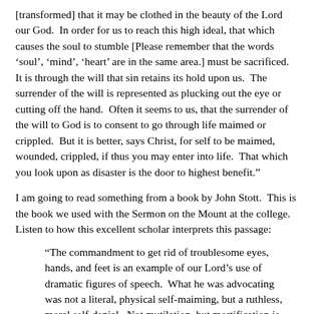[transformed] that it may be clothed in the beauty of the Lord our God.  In order for us to reach this high ideal, that which causes the soul to stumble [Please remember that the words ‘soul’, ‘mind’, ‘heart’ are in the same area.] must be sacrificed.  It is through the will that sin retains its hold upon us.  The surrender of the will is represented as plucking out the eye or cutting off the hand.  Often it seems to us, that the surrender of the will to God is to consent to go through life maimed or crippled.  But it is better, says Christ, for self to be maimed, wounded, crippled, if thus you may enter into life.  That which you look upon as disaster is the door to highest benefit.”
I am going to read something from a book by John Stott.  This is the book we used with the Sermon on the Mount at the college.  Listen to how this excellent scholar interprets this passage:
“The commandment to get rid of troublesome eyes, hands, and feet is an example of our Lord’s use of dramatic figures of speech.  What he was advocating was not a literal, physical self-maiming, but a ruthless, moral self-denial.  Not mutilation, but mortification is the part of holiness He taught.  And mortification, or taking up the cross to follow Christ means to reject